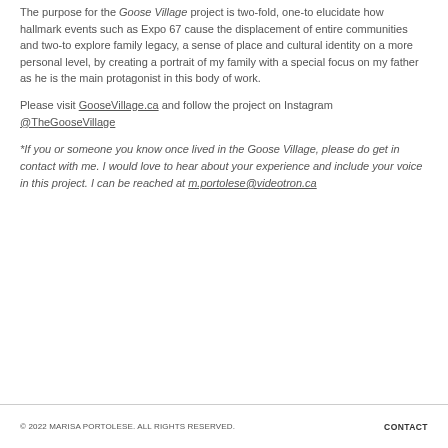The purpose for the Goose Village project is two-fold, one-to elucidate how hallmark events such as Expo 67 cause the displacement of entire communities and two-to explore family legacy, a sense of place and cultural identity on a more personal level, by creating a portrait of my family with a special focus on my father as he is the main protagonist in this body of work.
Please visit GooseVillage.ca and follow the project on Instagram @TheGooseVillage
*If you or someone you know once lived in the Goose Village, please do get in contact with me. I would love to hear about your experience and include your voice in this project. I can be reached at m.portolese@videotron.ca
© 2022 MARISA PORTOLESE. ALL RIGHTS RESERVED.    CONTACT